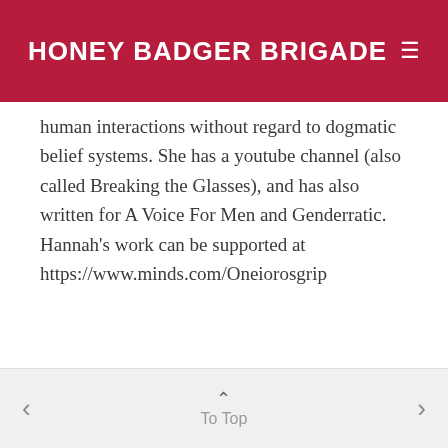HONEY BADGER BRIGADE
human interactions without regard to dogmatic belief systems. She has a youtube channel (also called Breaking the Glasses), and has also written for A Voice For Men and Genderratic. Hannah's work can be supported at https://www.minds.com/Oneiorosgrip
VIEW ALL POSTS
< To Top >